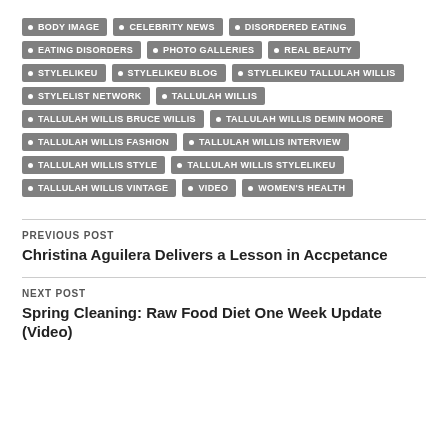BODY IMAGE
CELEBRITY NEWS
DISORDERED EATING
EATING DISORDERS
PHOTO GALLERIES
REAL BEAUTY
STYLELIKEU
STYLELIKEU BLOG
STYLELIKEU TALLULAH WILLIS
STYLELIST NETWORK
TALLULAH WILLIS
TALLULAH WILLIS BRUCE WILLIS
TALLULAH WILLIS DEMIN MOORE
TALLULAH WILLIS FASHION
TALLULAH WILLIS INTERVIEW
TALLULAH WILLIS STYLE
TALLULAH WILLIS STYLELIKEU
TALLULAH WILLIS VINTAGE
VIDEO
WOMEN'S HEALTH
PREVIOUS POST
Christina Aguilera Delivers a Lesson in Accpetance
NEXT POST
Spring Cleaning: Raw Food Diet One Week Update (Video)